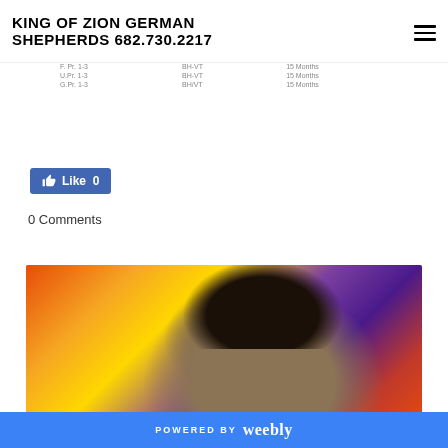KING OF ZION GERMAN SHEPHERDS 682.730.2217
| F. Pr. 1-3 | BH-VT | 15 Months |
| U.Pr. 1-3 | BH-VT | 15 Months |
| G.Pr. 1-3 | BH/VT | 15 Months |
[Figure (other): Facebook Like button showing 0 likes]
0 Comments
[Figure (photo): Close-up photo of a German Shepherd dog's head with colorful artwork visible in the background]
POWERED BY weebly